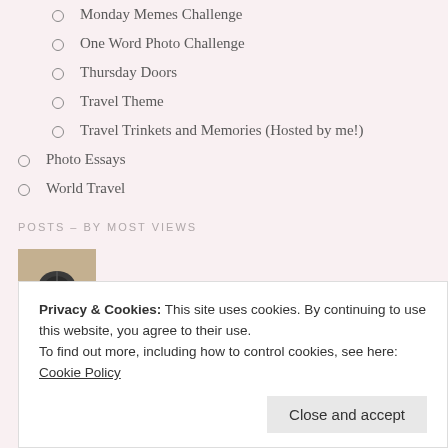Monday Memes Challenge
One Word Photo Challenge
Thursday Doors
Travel Theme
Travel Trinkets and Memories (Hosted by me!)
Photo Essays
World Travel
POSTS – BY MOST VIEWS
A Beautiful Maori Blessing
Privacy & Cookies: This site uses cookies. By continuing to use this website, you agree to their use.
To find out more, including how to control cookies, see here: Cookie Policy